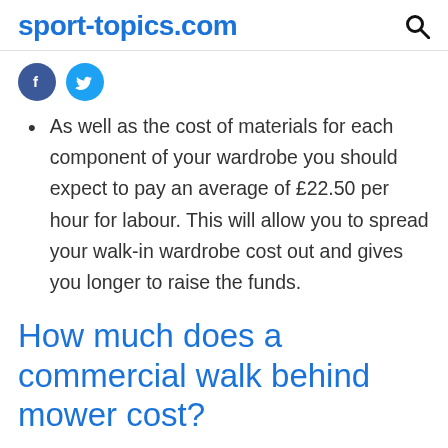sport-topics.com
As well as the cost of materials for each component of your wardrobe you should expect to pay an average of £22.50 per hour for labour. This will allow you to spread your walk-in wardrobe cost out and gives you longer to raise the funds.
How much does a commercial walk behind mower cost?